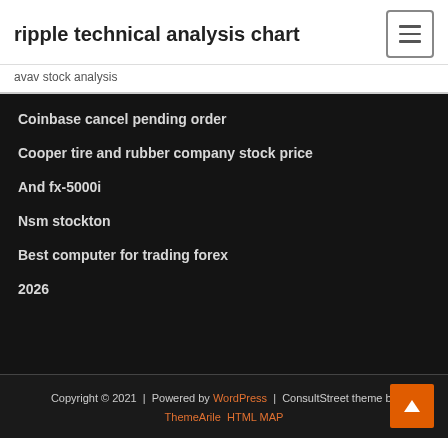ripple technical analysis chart
avav stock analysis
Coinbase cancel pending order
Cooper tire and rubber company stock price
And fx-5000i
Nsm stockton
Best computer for trading forex
2026
Copyright © 2021 | Powered by WordPress | ConsultStreet theme by ThemeArile HTML MAP